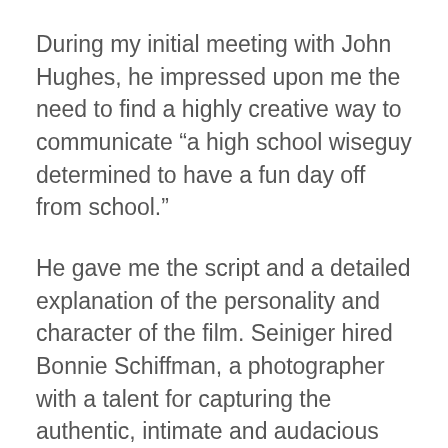During my initial meeting with John Hughes, he impressed upon me the need to find a highly creative way to communicate “a high school wiseguy determined to have a fun day off from school.”
He gave me the script and a detailed explanation of the personality and character of the film. Seiniger hired Bonnie Schiffman, a photographer with a talent for capturing the authentic, intimate and audacious personalities of Hollywood talent. The photo shoot was a critical element of the creative development process. If Ms. Schiffman failed to capture the authentic personality of the Matthew Broderick character in a single image, the true essence of the film would be